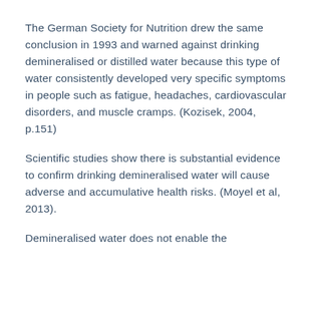The German Society for Nutrition drew the same conclusion in 1993 and warned against drinking demineralised or distilled water because this type of water consistently developed very specific symptoms in people such as fatigue, headaches, cardiovascular disorders, and muscle cramps. (Kozisek, 2004, p.151)
Scientific studies show there is substantial evidence to confirm drinking demineralised water will cause adverse and accumulative health risks. (Moyel et al, 2013).
Demineralised water does not enable the